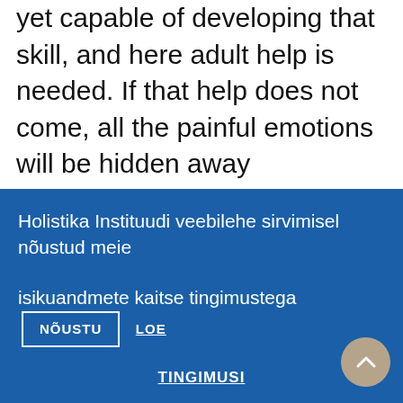yet capable of developing that skill, and here adult help is needed. If that help does not come, all the painful emotions will be hidden away somewhere in the unconscious so they cannot cause immediate harm. For a child, some pain might just be unbearable.
What are our emotions for? To be experienced! Emotions should be felt and experienced. But there are all kinds of emotions. Pleasant emotions help us enjoy life and are easy to experience. They are
Holistika Instituudi veebilehe sirvimisel nõustud meie isikuandmete kaitse tingimustega
NÕUSTU
LOE
TINGIMUSI